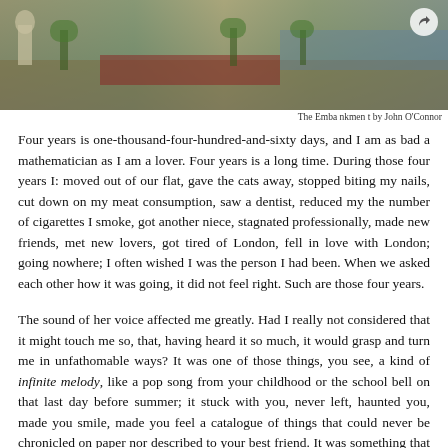[Figure (photo): A panoramic historical scene showing a grand embankment or promenade with classical statuary, soldiers or guards in red uniforms marching in formation, trees lining the path, and a body of water in the background. Title: The Embankment by John O'Connor]
The Embankment by John O'Connor
Four years is one-thousand-four-hundred-and-sixty days, and I am as bad a mathematician as I am a lover. Four years is a long time. During those four years I: moved out of our flat, gave the cats away, stopped biting my nails, cut down on my meat consumption, saw a dentist, reduced my the number of cigarettes I smoke, got another niece, stagnated professionally, made new friends, met new lovers, got tired of London, fell in love with London; going nowhere; I often wished I was the person I had been. When we asked each other how it was going, it did not feel right. Such are those four years.
The sound of her voice affected me greatly. Had I really not considered that it might touch me so, that, having heard it so much, it would grasp and turn me in unfathomable ways? It was one of those things, you see, a kind of infinite melody, like a pop song from your childhood or the school bell on that last day before summer; it stuck with you, never left, haunted you, made you smile, made you feel a catalogue of things that could never be chronicled on paper nor described to your best friend. It was something that came through in the womb of love, so that, outside, you were imprinted with